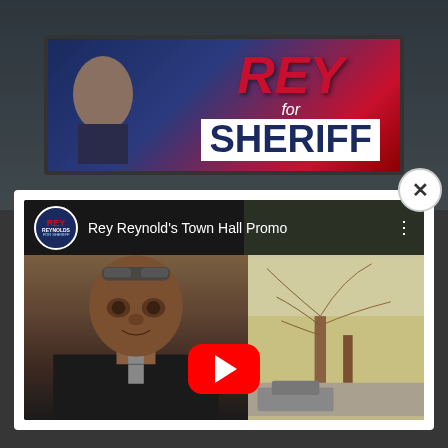[Figure (photo): Screenshot of a webpage showing a billboard with 'REY for SHERIFF' text against a dark sky background, with a popup modal overlay containing a YouTube video thumbnail titled 'Rey Reynold's Town Hall Promo' showing a man in a suit with a YouTube play button]
Rey Reynold's Town Hall Promo